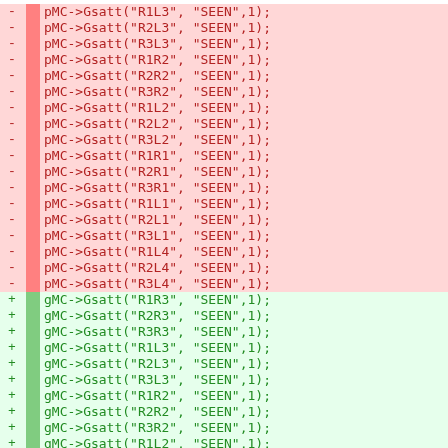Diff/code listing showing removed lines (pMC->Gsatt calls) and added lines (gMC->Gsatt calls) with SEEN attribute set to 1 for various geometry regions.
-   pMC->Gsatt("R1L3", "SEEN",1);
-   pMC->Gsatt("R2L3", "SEEN",1);
-   pMC->Gsatt("R3L3", "SEEN",1);
-   pMC->Gsatt("R1R2", "SEEN",1);
-   pMC->Gsatt("R2R2", "SEEN",1);
-   pMC->Gsatt("R3R2", "SEEN",1);
-   pMC->Gsatt("R1L2", "SEEN",1);
-   pMC->Gsatt("R2L2", "SEEN",1);
-   pMC->Gsatt("R3L2", "SEEN",1);
-   pMC->Gsatt("R1R1", "SEEN",1);
-   pMC->Gsatt("R2R1", "SEEN",1);
-   pMC->Gsatt("R3R1", "SEEN",1);
-   pMC->Gsatt("R1L1", "SEEN",1);
-   pMC->Gsatt("R2L1", "SEEN",1);
-   pMC->Gsatt("R3L1", "SEEN",1);
-   pMC->Gsatt("R1L4", "SEEN",1);
-   pMC->Gsatt("R2L4", "SEEN",1);
-   pMC->Gsatt("R3L4", "SEEN",1);
+   gMC->Gsatt("R1R3", "SEEN",1);
+   gMC->Gsatt("R2R3", "SEEN",1);
+   gMC->Gsatt("R3R3", "SEEN",1);
+   gMC->Gsatt("R1L3", "SEEN",1);
+   gMC->Gsatt("R2L3", "SEEN",1);
+   gMC->Gsatt("R3L3", "SEEN",1);
+   gMC->Gsatt("R1R2", "SEEN",1);
+   gMC->Gsatt("R2R2", "SEEN",1);
+   gMC->Gsatt("R3R2", "SEEN",1);
+   gMC->Gsatt("R1L2", "SEEN",1);
+   gMC->Gsatt("R2L2", "SEEN",1);
+   gMC->Gsatt("R3L2", "SEEN",1);
+   gMC->Gsatt("R1R1", "SEEN",1);
+   gMC->Gsatt("R2R1", "SEEN",1)